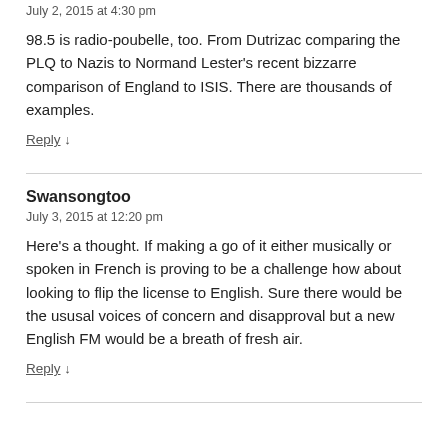July 2, 2015 at 4:30 pm
98.5 is radio-poubelle, too. From Dutrizac comparing the PLQ to Nazis to Normand Lester's recent bizzarre comparison of England to ISIS. There are thousands of examples.
Reply ↓
Swansongtoo
July 3, 2015 at 12:20 pm
Here's a thought. If making a go of it either musically or spoken in French is proving to be a challenge how about looking to flip the license to English. Sure there would be the ususal voices of concern and disapproval but a new English FM would be a breath of fresh air.
Reply ↓